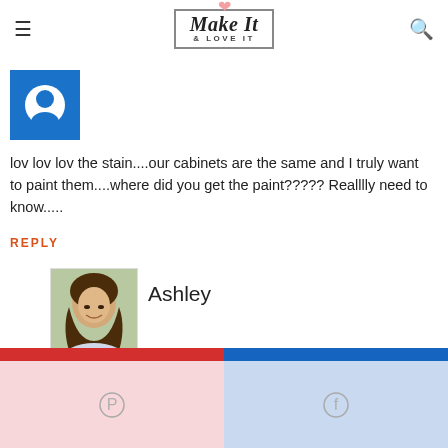Make It & LOVE IT
[Figure (logo): Make It & Love It blog logo with heart icon and rectangular border]
[Figure (photo): Blue square avatar icon with white circular user silhouette]
lov lov lov the stain....our cabinets are the same and I truly want to paint them....where did you get the paint????? Realllly need to know.....
REPLY
[Figure (photo): Photo of Ashley, a woman with long dark hair, smiling]
Ashley
JANUARY 23, 2015 AT 5:23